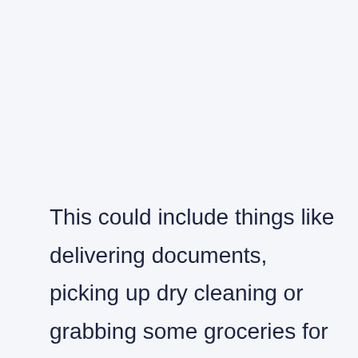This could include things like delivering documents, picking up dry cleaning or grabbing some groceries for someone who's unable to do so. You could also limit yourself to strictly online tasks, like formatting documents, creating posters or invitations for someone who can't...